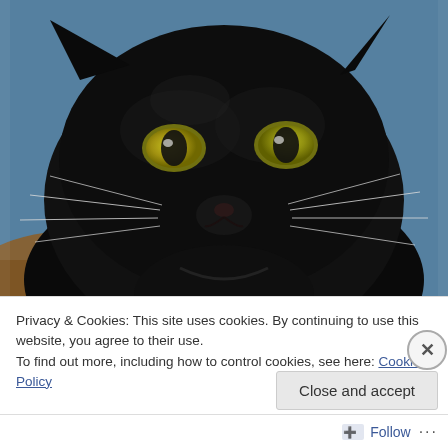[Figure (photo): Close-up photo of a black cat with yellow-green eyes staring at the camera, set against a background with a blue fabric visible. The cat's face and whiskers are prominently featured.]
Privacy & Cookies: This site uses cookies. By continuing to use this website, you agree to their use.
To find out more, including how to control cookies, see here: Cookie Policy
Close and accept
Follow